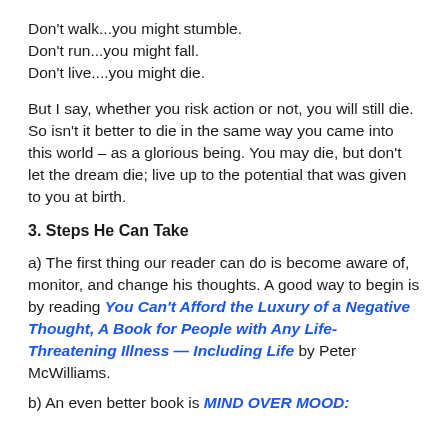Don't walk...you might stumble.
Don't run...you might fall.
Don't live....you might die.
But I say, whether you risk action or not, you will still die. So isn't it better to die in the same way you came into this world – as a glorious being. You may die, but don't let the dream die; live up to the potential that was given to you at birth.
3. Steps He Can Take
a) The first thing our reader can do is become aware of, monitor, and change his thoughts. A good way to begin is by reading You Can't Afford the Luxury of a Negative Thought, A Book for People with Any Life-Threatening Illness — Including Life by Peter McWilliams.
b) An even better book is MIND OVER MOOD: